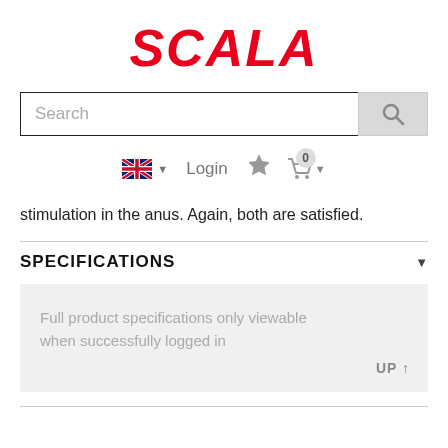[Figure (logo): SCALA logo in bold italic red text]
[Figure (screenshot): Search bar with search button]
[Figure (screenshot): Navigation row with UK flag, Login, star icon, cart icon with badge 0]
stimulation in the anus. Again, both are satisfied.
SPECIFICATIONS
Full product specifications only viewable when successfully logged in